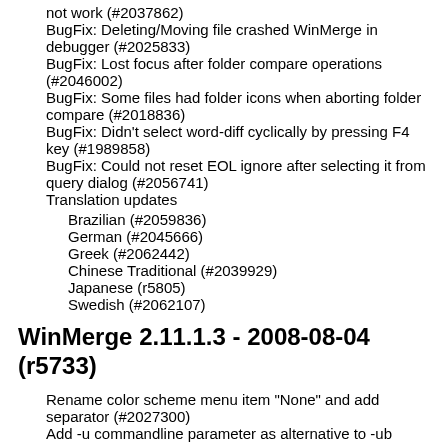not work (#2037862)
BugFix: Deleting/Moving file crashed WinMerge in debugger (#2025833)
BugFix: Lost focus after folder compare operations (#2046002)
BugFix: Some files had folder icons when aborting folder compare (#2018836)
BugFix: Didn't select word-diff cyclically by pressing F4 key (#1989858)
BugFix: Could not reset EOL ignore after selecting it from query dialog (#2056741)
Translation updates
Brazilian (#2059836)
German (#2045666)
Greek (#2062442)
Chinese Traditional (#2039929)
Japanese (r5805)
Swedish (#2062107)
WinMerge 2.11.1.3 - 2008-08-04 (r5733)
Rename color scheme menu item "None" and add separator (#2027300)
Add -u commandline parameter as alternative to -ub (#2033057, #2033058)